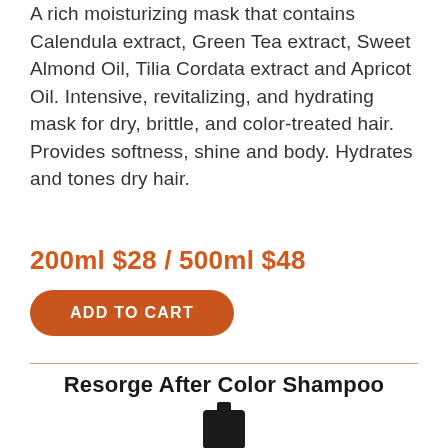A rich moisturizing mask that contains Calendula extract, Green Tea extract, Sweet Almond Oil, Tilia Cordata extract and Apricot Oil. Intensive, revitalizing, and hydrating mask for dry, brittle, and color-treated hair. Provides softness, shine and body. Hydrates and tones dry hair.
200ml $28 / 500ml $48
ADD TO CART
Resorge After Color Shampoo
[Figure (photo): Partial view of a dark/black hair product bottle (shampoo)]